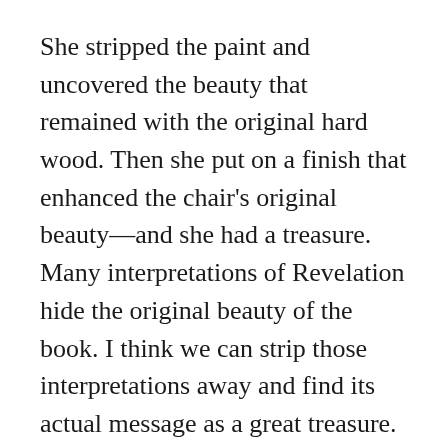She stripped the paint and uncovered the beauty that remained with the original hard wood. Then she put on a finish that enhanced the chair's original beauty—and she had a treasure. Many interpretations of Revelation hide the original beauty of the book. I think we can strip those interpretations away and find its actual message as a great treasure.
Let's see how this goes. I will read from Revelation 17, the story of Babylon's comeuppance. Try to listen to it thinking of the 21st century. As I read, look for an image or an idea that you think might say something tous as 21st century Americans. Then we can talk just a bit about it...